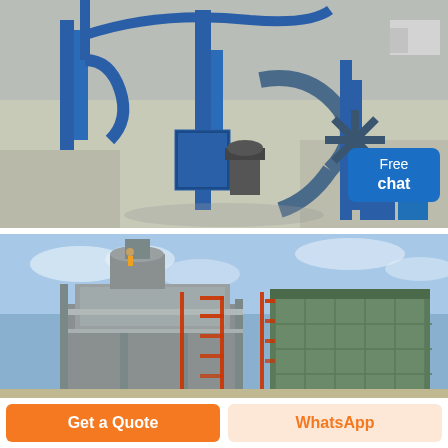[Figure (photo): Aerial view of industrial mineral processing plant with blue steel structures, conveyors, ducts, and machinery on a concrete surface with a truck visible in the background. A customer service representative icon with a 'Free chat' speech bubble appears in the lower right corner.]
[Figure (photo): Ground-level view of a large industrial facility with gray steel structure, scaffolding with red elements, and a large green industrial filter/dust collector unit under a blue sky.]
Get a Quote
WhatsApp